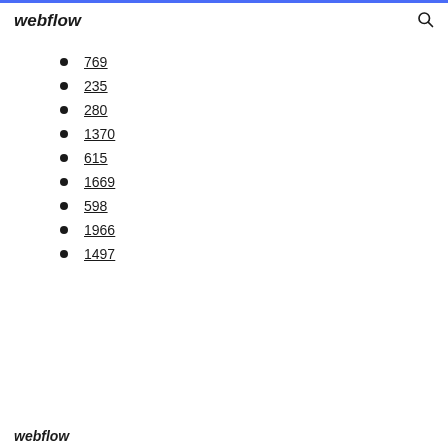webflow
769
235
280
1370
615
1669
598
1966
1497
webflow